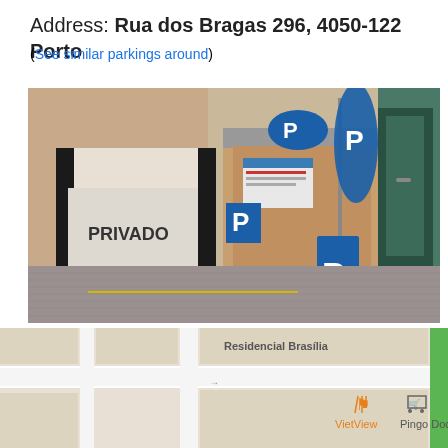Address: Rua dos Bragas 296, 4050-122 Porto
(See similar parkings around)
[Figure (photo): Street-level photograph of a private parking garage entrance in Porto. The building facade shows a dark marble-clad entrance with 'PRIVADO' text visible. To the right is an open garage entrance with blue parking 'P' signs including a large A-frame sandwich board sign and a tall blue flag-style banner sign.]
[Figure (map): Google Maps snippet showing the area around Rua dos Bragas, Porto. Shows 'Residencial Brasília' label at top, 'VietView' restaurant marker with fork/knife icon, and 'Pingo Doce' supermarket marker with shopping cart icon on the right side.]